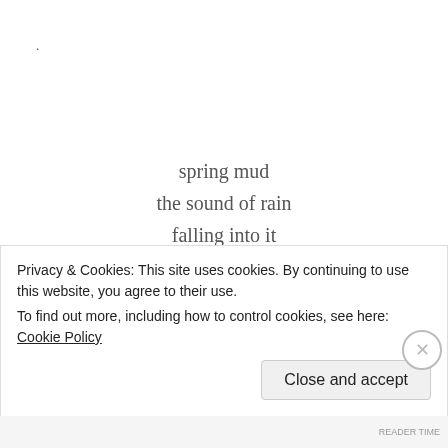.
spring mud
the sound of rain
falling into it
(NaHaiWriMo prompt: Dirt, soil)
Privacy & Cookies: This site uses cookies. By continuing to use this website, you agree to their use.
To find out more, including how to control cookies, see here: Cookie Policy
Close and accept